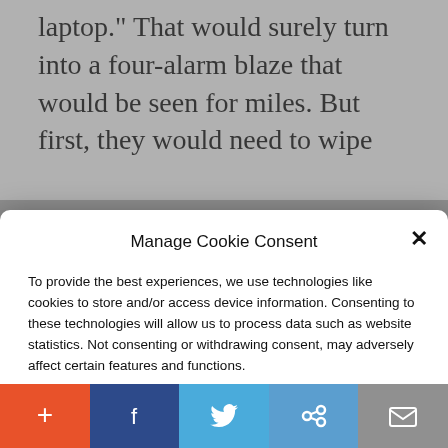laptop." That would surely turn into a four-alarm blaze that would be seen for miles. But first, they would need to wipe
Manage Cookie Consent
To provide the best experiences, we use technologies like cookies to store and/or access device information. Consenting to these technologies will allow us to process data such as website statistics. Not consenting or withdrawing consent, may adversely affect certain features and functions.
Accept
Cookie Policy   Privacy Policy
Liberty Nation Today: A Sneak